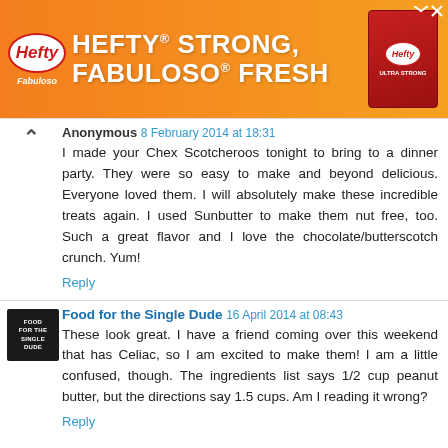[Figure (photo): Hefty brand advertisement banner with orange gradient background showing 'HEFTY STRONG, FABULOSO FRESH' text with Hefty logo and product image]
Anonymous 8 February 2014 at 18:31
I made your Chex Scotcheroos tonight to bring to a dinner party. They were so easy to make and beyond delicious. Everyone loved them. I will absolutely make these incredible treats again. I used Sunbutter to make them nut free, too. Such a great flavor and I love the chocolate/butterscotch crunch. Yum!
Reply
Food for the Single Dude 16 April 2014 at 08:43
These look great. I have a friend coming over this weekend that has Celiac, so I am excited to make them! I am a little confused, though. The ingredients list says 1/2 cup peanut butter, but the directions say 1.5 cups. Am I reading it wrong?
Reply